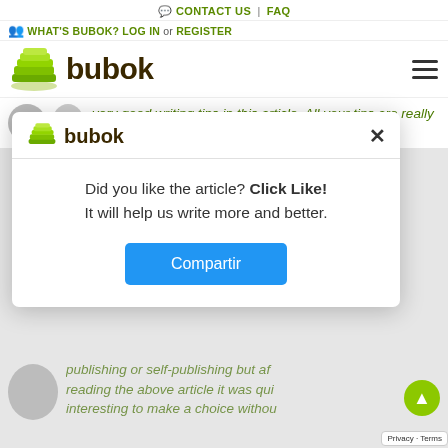💬 CONTACT US | FAQ
👥 WHAT'S BUBOK? LOG IN or REGISTER
[Figure (logo): Bubok logo with green stacked books icon and brown bold text 'bubok']
very good writing tips in this article. All your tips are really very effective and
[Figure (screenshot): Modal popup with Bubok logo, close button (X), text 'Did you like the article? Click Like! It will help us write more and better.' and a blue 'Compartir' button]
publishing or self-publishing but after reading the above article it was quite interesting to make a choice without